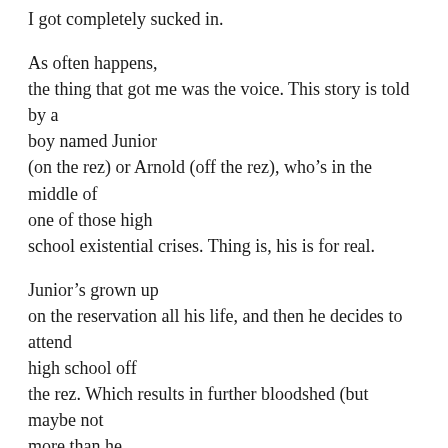I got completely sucked in.
As often happens, the thing that got me was the voice. This story is told by a boy named Junior (on the rez) or Arnold (off the rez), who’s in the middle of one of those high school existential crises. Thing is, his is for real.
Junior’s grown up on the reservation all his life, and then he decides to attend high school off the rez. Which results in further bloodshed (but maybe not more than he suffered already), the loss of his best friend, and some serious basketball